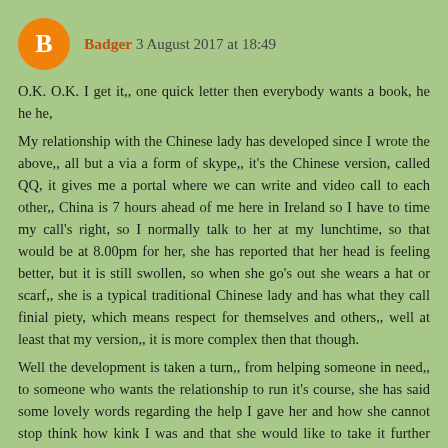[Figure (illustration): Orange circle with white letter B (Blogger avatar icon)]
Badger 3 August 2017 at 18:49
O.K. O.K. I get it,, one quick letter then everybody wants a book, he he he,
My relationship with the Chinese lady has developed since I wrote the above,, all but a via a form of skype,, it's the Chinese version, called QQ, it gives me a portal where we can write and video call to each other,, China is 7 hours ahead of me here in Ireland so I have to time my call's right, so I normally talk to her at my lunchtime, so that would be at 8.00pm for her, she has reported that her head is feeling better, but it is still swollen, so when she go's out she wears a hat or scarf,, she is a typical traditional Chinese lady and has what they call finial piety, which means respect for themselves and others,, well at least that my version,, it is more complex then that though.
Well the development is taken a turn,, from helping someone in need,, to someone who wants the relationship to run it's course, she has said some lovely words regarding the help I gave her and how she cannot stop think how kink I was and that she would like to take it further ?????? !!!!!!
So it turns out that she has taken a shine to me,, and I must admit seeing that I am halfway through a divorce,, I kinda want to too,,